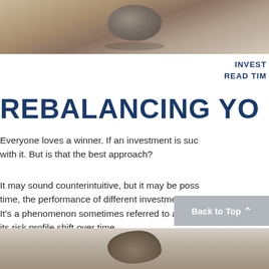[Figure (photo): Close-up photo of balanced stones on a surface, cropped to show top portion]
INVEST
READ TIM
REBALANCING YO
Everyone loves a winner. If an investment is suc with it. But is that the best approach?
It may sound counterintuitive, but it may be poss time, the performance of different investments ca It's a phenomenon sometimes referred to as "ris its risk profile shift over time.
[Figure (photo): Bottom portion of page showing a bronze animal sculpture, partially cropped]